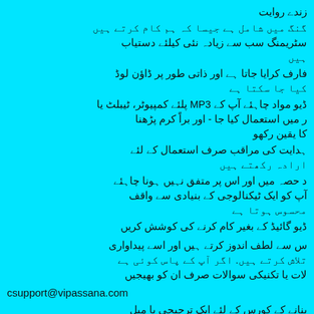زندگی
گنگ میں شامل ہے جیسا کہ ہم کام کرتے ہیں
سٹریمنگ سب سے زیادہ نئی کیلئے دستیاب
ہیں
فارف کرایا جاتا ہے اور ذاتی طور پر ڈاؤن لوڈ
کیا جا سکتا ہے
ڈیو مواد چاہئے آپ کے MP3 پلئے کمپیوٹر، ٹیبلٹ یا
ر میں استعمال کیا جا - اور براً کرم پڑھنا
کا یقین رکھو
ہدایت کی مراقب صرف استعمال کے لئے
ارادہ رکھتے ہیں
د حصہ میں اور اس پر متفق نہیں ہونا چاہئے
آپ کو ایک ٹیکنالوجی کے بنیادی سے واقف
محسوس ہوتا ہے
ڈیو گائیڈ کے بغیر کام کرنے کی کوشش کریں
س سے لطف اندوز کرتے ہیں اور اسے پیداواری
تلاش کرتے ہیں. اگر آپ کے پاس کوئی ہے
لات یا تکنیکی سوالات صرف ان کو بھیجیں
csupport@vipassana.com
بنانے کے کورس کے لئے ایک ترجیحی یا میل
اڈریس ہے